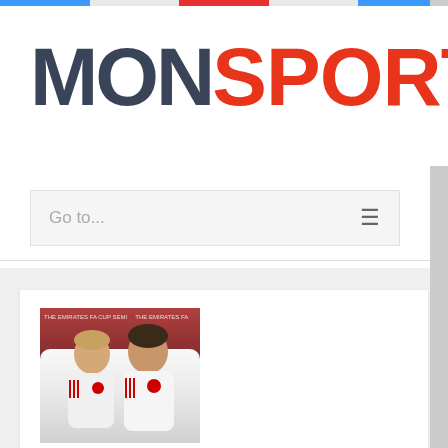[Figure (logo): MONSPORTS logo with MON in dark slate color and SPORTS in red handwritten style]
Go to...
[Figure (photo): Two Manchester United players in white kit smiling together, appears to be taken at Wembley FA Cup final]